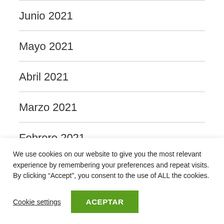Junio 2021
Mayo 2021
Abril 2021
Marzo 2021
Febrero 2021
We use cookies on our website to give you the most relevant experience by remembering your preferences and repeat visits. By clicking “Accept”, you consent to the use of ALL the cookies.
Cookie settings
ACEPTAR